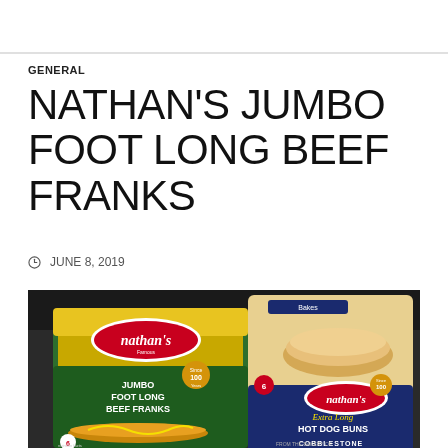GENERAL
NATHAN'S JUMBO FOOT LONG BEEF FRANKS
JUNE 8, 2019
[Figure (photo): Photo of Nathan's Jumbo Foot Long Beef Franks package (green packaging) alongside Nathan's Extra Long Hot Dog Buns package (from Cobblestone), both sitting in what appears to be a shopping cart or dark surface.]